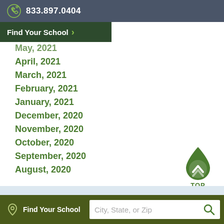833.897.0404
Find Your School
May, 2021
April, 2021
March, 2021
February, 2021
January, 2021
December, 2020
November, 2020
October, 2020
September, 2020
August, 2020
[Figure (illustration): Green water-drop shaped 'TOP' scroll-to-top button with an up chevron inside]
Find Your School  City, State, or Zip